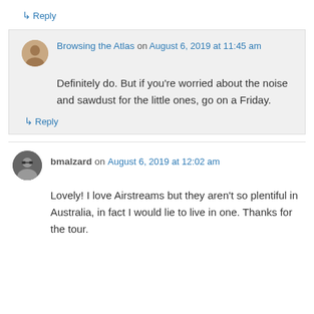↳ Reply
Browsing the Atlas on August 6, 2019 at 11:45 am
Definitely do. But if you're worried about the noise and sawdust for the little ones, go on a Friday.
↳ Reply
bmalzard on August 6, 2019 at 12:02 am
Lovely! I love Airstreams but they aren't so plentiful in Australia, in fact I would lie to live in one. Thanks for the tour.